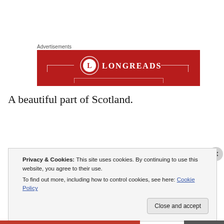Advertisements
[Figure (logo): Longreads advertisement banner — red background with LONGREADS logo and decorative lines]
A beautiful part of Scotland.
Privacy & Cookies: This site uses cookies. By continuing to use this website, you agree to their use.
To find out more, including how to control cookies, see here: Cookie Policy